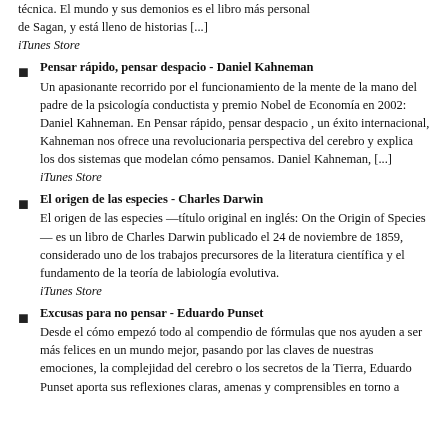técnica. El mundo y sus demonios es el libro más personal de Sagan, y está lleno de historias [...]
iTunes Store
Pensar rápido, pensar despacio - Daniel Kahneman
Un apasionante recorrido por el funcionamiento de la mente de la mano del padre de la psicología conductista y premio Nobel de Economía en 2002: Daniel Kahneman. En Pensar rápido, pensar despacio , un éxito internacional, Kahneman nos ofrece una revolucionaria perspectiva del cerebro y explica los dos sistemas que modelan cómo pensamos. Daniel Kahneman, [...]
iTunes Store
El origen de las especies - Charles Darwin
El origen de las especies —título original en inglés: On the Origin of Species— es un libro de Charles Darwin publicado el 24 de noviembre de 1859, considerado uno de los trabajos precursores de la literatura científica y el fundamento de la teoría de labiología evolutiva.
iTunes Store
Excusas para no pensar - Eduardo Punset
Desde el cómo empezó todo al compendio de fórmulas que nos ayuden a ser más felices en un mundo mejor, pasando por las claves de nuestras emociones, la complejidad del cerebro o los secretos de la Tierra, Eduardo Punset aporta sus reflexiones claras, amenas y comprensibles en torno a